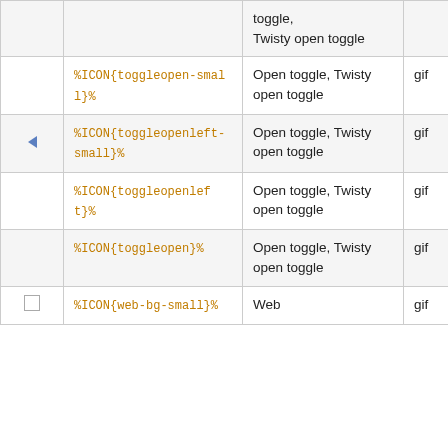|  | Icon variable | Description | Type | Size |
| --- | --- | --- | --- | --- |
|  |  | toggle, Twisty open toggle | gif | 16x16 |
|  | %ICON{toggleopen-small}% | Open toggle, Twisty open toggle | gif | 16x16 |
| ◄ | %ICON{toggleopenleft-small}% | Open toggle, Twisty open toggle | gif | 16x16 |
|  | %ICON{toggleopenleft}% | Open toggle, Twisty open toggle | gif | 16x16 |
|  | %ICON{toggleopen}% | Open toggle, Twisty open toggle | gif | 16x16 |
| □ | %ICON{web-bg-small}% | Web | gif | 13x13 |